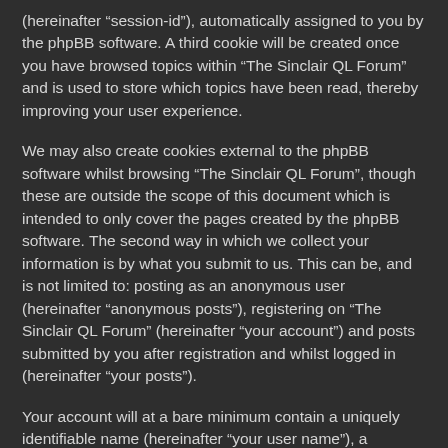(hereinafter “session-id”), automatically assigned to you by the phpBB software. A third cookie will be created once you have browsed topics within “The Sinclair QL Forum” and is used to store which topics have been read, thereby improving your user experience.
We may also create cookies external to the phpBB software whilst browsing “The Sinclair QL Forum”, though these are outside the scope of this document which is intended to only cover the pages created by the phpBB software. The second way in which we collect your information is by what you submit to us. This can be, and is not limited to: posting as an anonymous user (hereinafter “anonymous posts”), registering on “The Sinclair QL Forum” (hereinafter “your account”) and posts submitted by you after registration and whilst logged in (hereinafter “your posts”).
Your account will at a bare minimum contain a uniquely identifiable name (hereinafter “your user name”), a personal password used for logging into your account (hereinafter “your password”) and a personal, valid email address (hereinafter “your email”). Your information for your account at “The Sinclair QL Forum” is protected by data-protection laws applicable in the country that hosts us. Any information beyond your user name, your password, and your email address required by “The Sinclair QL Forum” during the registration process is either mandatory or optional, at the discretion of “The Sinclair QL Forum”. In all cases, you have the option of what information in your account is publicly displayed. Furthermore, within your account, you have the option to opt-in or opt-out of automatically